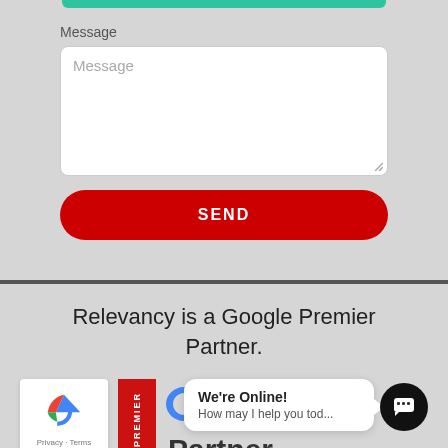[Figure (screenshot): Top green bar, part of a web form UI]
Message
[Figure (screenshot): Message textarea input with placeholder text 'Message']
[Figure (screenshot): Red SEND button]
Relevancy is a Google Premier Partner.
[Figure (screenshot): Bottom row with reCAPTCHA logo, Privacy - Terms text, Google Premier Partner badge, and partial Partner text]
[Figure (screenshot): Chat bubble saying 'We're Online! How may I help you tod...' with chat icon]